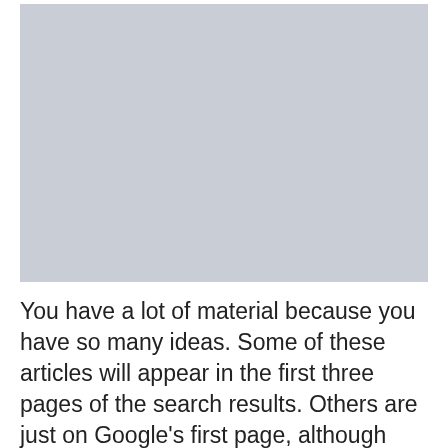[Figure (other): A large light gray rectangular placeholder image occupying the top portion of the page.]
You have a lot of material because you have so many ideas. Some of these articles will appear in the first three pages of the search results. Others are just on Google's first page, although many of